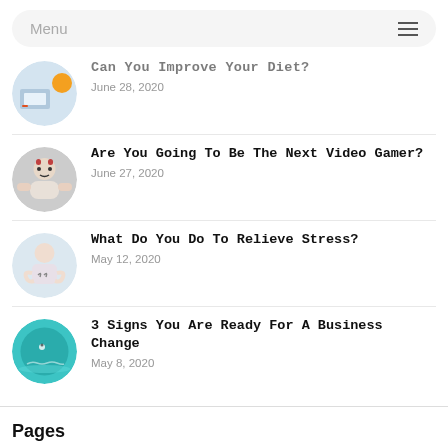Menu
Can You Improve Your Diet?
June 28, 2020
Are You Going To Be The Next Video Gamer?
June 27, 2020
What Do You Do To Relieve Stress?
May 12, 2020
3 Signs You Are Ready For A Business Change
May 8, 2020
Pages